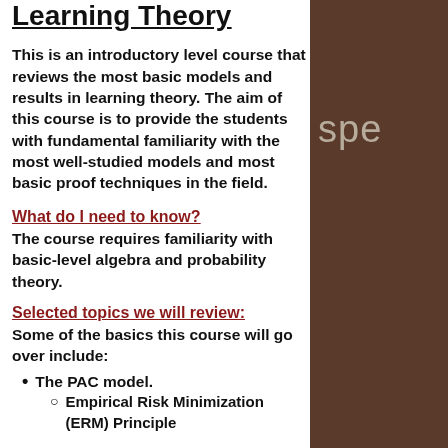Learning Theory
This is an introductory level course that reviews the most basic models and results in learning theory. The aim of this course is to provide the students with fundamental familiarity with the most well-studied models and most basic proof techniques in the field.
What do I need to know?
The course requires familiarity with basic-level algebra and probability theory.
Selected topics we will review:
Some of the basics this course will go over include:
The PAC model.
Empirical Risk Minimization (ERM) Principle